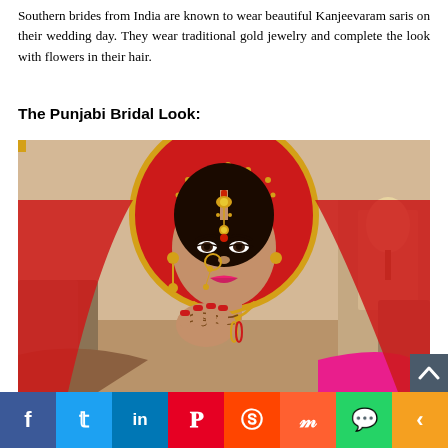Southern brides from India are known to wear beautiful Kanjeevaram saris on their wedding day. They wear traditional gold jewelry and complete the look with flowers in their hair.
The Punjabi Bridal Look:
[Figure (photo): A Punjabi bride wearing a red dupatta/veil with gold embroidery, elaborate gold jewelry including maang tikka, nath (nose ring), and necklaces, with mehndi on her hands, holding her hand near her face.]